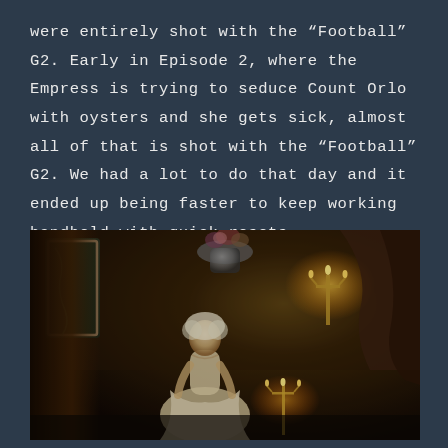were entirely shot with the “Football” G2. Early in Episode 2, where the Empress is trying to seduce Count Orlo with oysters and she gets sick, almost all of that is shot with the “Football” G2. We had a lot to do that day and it ended up being faster to keep working handheld with quick resets.
[Figure (photo): A period drama scene showing a young woman in an 18th-century white gown seated at a candlelit table. The scene is dramatically lit with candelabras, heavy curtains in the background, and a decorative vase with flowers. The setting appears to be a formal dining room or palace interior.]